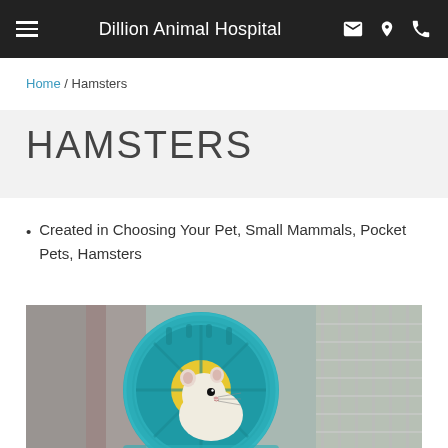Dillion Animal Hospital
Home / Hamsters
HAMSTERS
Created in Choosing Your Pet, Small Mammals, Pocket Pets, Hamsters
[Figure (photo): A white hamster sitting inside a teal/turquoise exercise wheel in a cage]